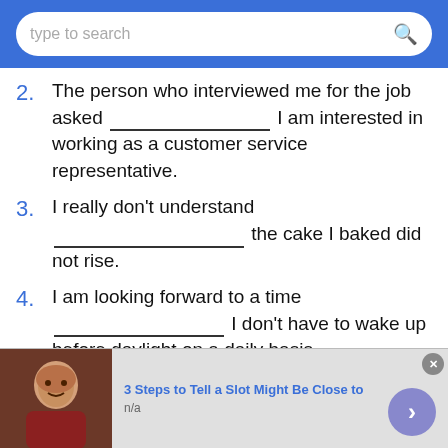type to search
2. The person who interviewed me for the job asked ___ I am interested in working as a customer service representative.
3. I really don't understand ___ the cake I baked did not rise.
4. I am looking forward to a time ___ I don't have to wake up before daylight on a daily basis.
5. (partially visible)
[Figure (photo): Advertisement showing a man's photo with text '3 Steps to Tell a Slot Might Be Close to' and source 'n/a']